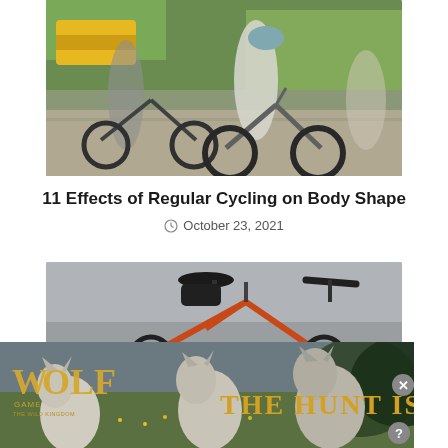[Figure (photo): Two people riding bicycles on a city street with motion blur, green trees and a yellow taxi in background]
11 Effects of Regular Cycling on Body Shape
October 23, 2021
[Figure (photo): A red bicycle parked on a gray surface, close-up showing handlebars and seat]
[Figure (photo): Wolf Game: The Wild Kingdom advertisement banner with wolves in a meadow and text THE HUNT IS ON]